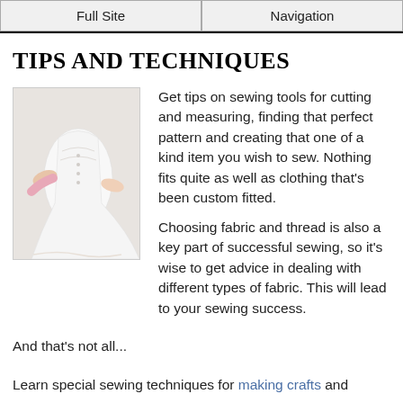Full Site | Navigation
TIPS AND TECHNIQUES
[Figure (photo): Person fitting a white wedding dress on someone, hands adjusting buttons on the back]
Get tips on sewing tools for cutting and measuring, finding that perfect pattern and creating that one of a kind item you wish to sew. Nothing fits quite as well as clothing that's been custom fitted.
Choosing fabric and thread is also a key part of successful sewing, so it's wise to get advice in dealing with different types of fabric. This will lead to your sewing success.
And that's not all...
Learn special sewing techniques for making crafts and